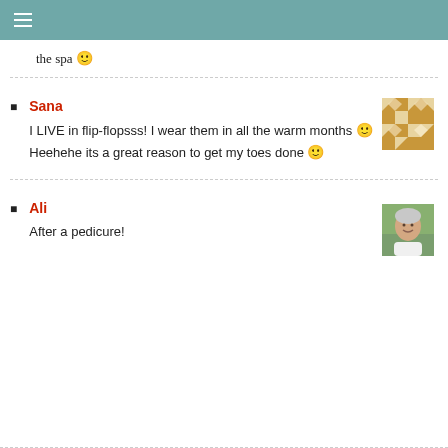≡
the spa 🙂
Sana
I LIVE in flip-flopsss! I wear them in all the warm months 🙂 Heehehe its a great reason to get my toes done 🙂
Ali
After a pedicure!